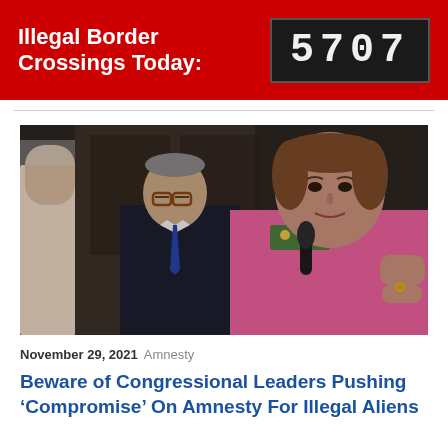Illegal Border Crossings Today: 5707
[Figure (photo): Two politicians at a press conference; a woman in a pink blazer with a floral scarf speaks into a microphone, a man in a dark suit and blue tie stands behind her.]
November 29, 2021 Amnesty
Beware of Congressional Leaders Pushing ‘Compromise’ On Amnesty For Illegal Aliens